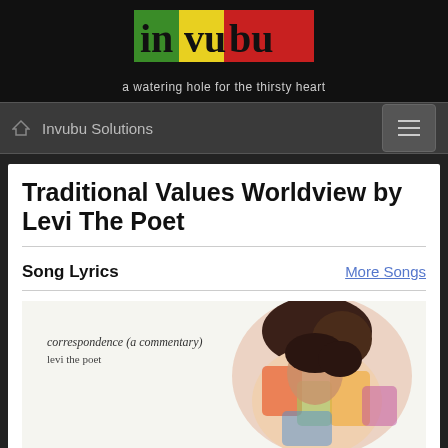[Figure (logo): Invubu logo with colored blocks (green, yellow, red) and text 'invubu' with tagline 'a watering hole for the thirsty heart']
Invubu Solutions
Traditional Values Worldview by Levi The Poet
Song Lyrics
More Songs
[Figure (photo): Album art for 'correspondence (a commentary)' by levi the poet — shows text on white background with a colorful artwork of a figure on the right side]